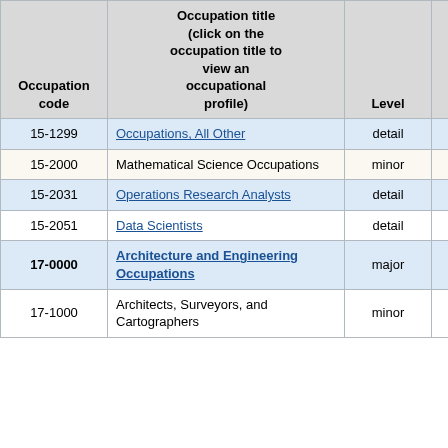| Occupation code | Occupation title (click on the occupation title to view an occupational profile) | Level | Employment | Employment RSE |
| --- | --- | --- | --- | --- |
| 15-1299 | Occupations, All Other | detail | 90 | 8 |
| 15-2000 | Mathematical Science Occupations | minor | 250 | 8 |
| 15-2031 | Operations Research Analysts | detail | 160 | 7 |
| 15-2051 | Data Scientists | detail | 80 | 18 |
| 17-0000 | Architecture and Engineering Occupations | major | 7,370 | 2 |
| 17-1000 | Architects, Surveyors, and Cartographers | minor | 50 | 48 |